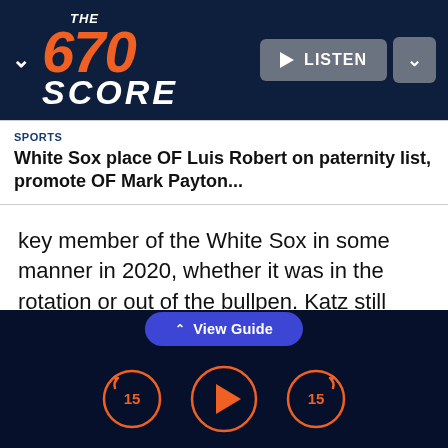[Figure (logo): The 670 Score radio station logo with orange 670 and white SCORE text on dark navy background, with LISTEN button]
SPORTS
White Sox place OF Luis Robert on paternity list, promote OF Mark Payton...
key member of the White Sox in some manner in 2020, whether it was in the rotation or out of the bullpen. Katz still believes Kopech has the potential be a top-of-the-rotation starter despite a long layoff.
[Figure (screenshot): View Guide button and media player controls (rewind 15, play, fast-forward 15) on dark navy background]